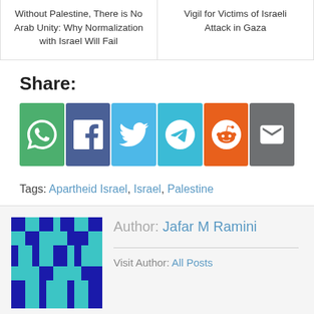Without Palestine, There is No Arab Unity: Why Normalization with Israel Will Fail
Vigil for Victims of Israeli Attack in Gaza
Share:
[Figure (infographic): Social share buttons: WhatsApp (green), Facebook (dark blue), Twitter (light blue), Telegram (cyan), Reddit (orange), Email (grey)]
Tags: Apartheid Israel, Israel, Palestine
Author: Jafar M Ramini
Visit Author:  All Posts